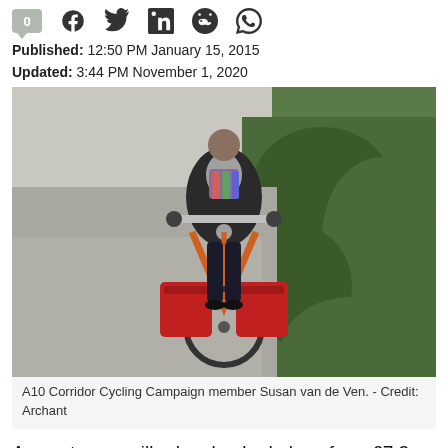0 [social icons: Facebook, Twitter, LinkedIn, Reddit, WhatsApp]
Published: 12:50 PM January 15, 2015
Updated: 3:44 PM November 1, 2020
[Figure (photo): Person riding an orange bicycle with red panniers on a road, wearing black clothing and a colourful scarf. Hedgerow visible in background.]
A10 Corridor Cycling Campaign member Susan van de Ven. - Credit: Archant
A county councillor has backed plans for a £7.2 million cycling 'super highway' connecting Royston and Cambridge.